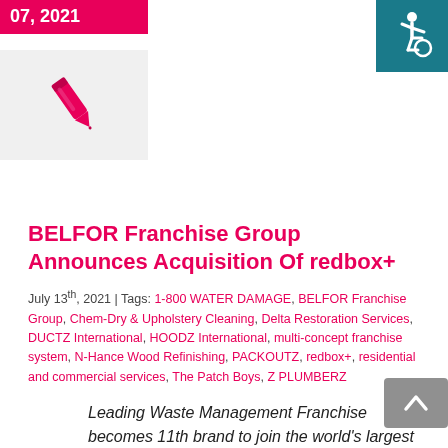07, 2021
[Figure (illustration): Pink pen/quill icon on light grey background]
[Figure (illustration): Accessibility icon (wheelchair symbol) on teal background, top right corner]
BELFOR Franchise Group Announces Acquisition Of redbox+
July 13th, 2021 | Tags: 1-800 WATER DAMAGE, BELFOR Franchise Group, Chem-Dry & Upholstery Cleaning, Delta Restoration Services, DUCTZ International, HOODZ International, multi-concept franchise system, N-Hance Wood Refinishing, PACKOUTZ, redbox+, residential and commercial services, The Patch Boys, Z PLUMBERZ
Leading Waste Management Franchise becomes 11th brand to join the world's largest residential and commercial services franchise group.